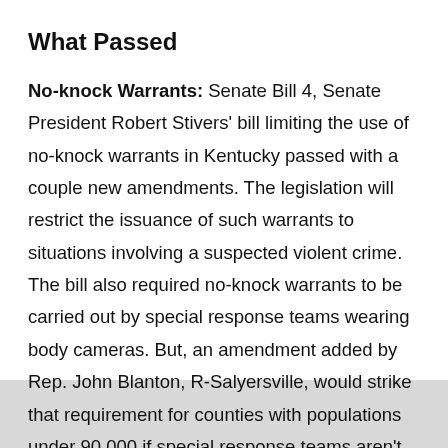What Passed
No-knock Warrants: Senate Bill 4, Senate President Robert Stivers' bill limiting the use of no-knock warrants in Kentucky passed with a couple new amendments. The legislation will restrict the issuance of such warrants to situations involving a suspected violent crime. The bill also required no-knock warrants to be carried out by special response teams wearing body cameras. But, an amendment added by Rep. John Blanton, R-Salyersville, would strike that requirement for counties with populations under 90,000 if special response teams aren't available quickly. Smaller counties would also be able to use other types of